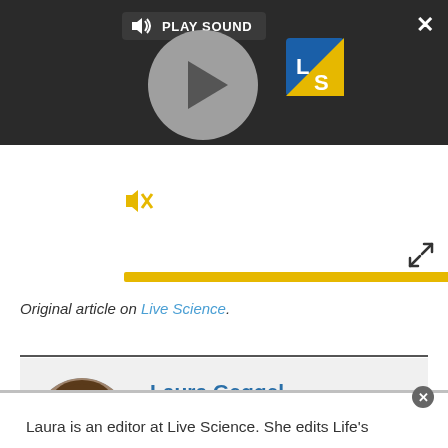[Figure (screenshot): Embedded audio/video player with dark background, play button circle, PLAY SOUND label, LS (Live Science) logo, mute icon, and yellow progress bar at bottom.]
Original article on Live Science.
[Figure (photo): Circular author headshot of Laura Geggel, a woman smiling, wearing a dark top.]
Laura Geggel
Editor
Laura is an editor at Live Science. She edits Life's